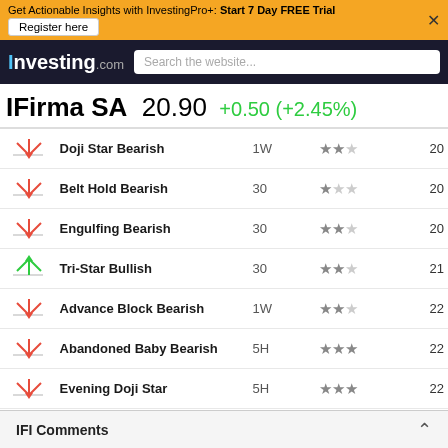Get Actionable Insights with InvestingPro+: Start 7 Day FREE Trial Register here
Investing.com  Search the website...
IFirma SA  20.90  +0.50 (+2.45%)
| Icon | Pattern | Period | Reliability | Candle |
| --- | --- | --- | --- | --- |
| ↘bearish | Doji Star Bearish | 1W | ★★☆ | 20 |
| ↘bearish | Belt Hold Bearish | 30 | ★☆☆ | 20 |
| ↘bearish | Engulfing Bearish | 30 | ★★☆ | 20 |
| ↗bullish | Tri-Star Bullish | 30 | ★★☆ | 21 |
| ↘bearish | Advance Block Bearish | 1W | ★★☆ | 22 |
| ↘bearish | Abandoned Baby Bearish | 5H | ★★★ | 22 |
| ↘bearish | Evening Doji Star | 5H | ★★★ | 22 |
| ↗bullish | Harami Cross | 15 | ★☆☆ | 22 |
| ↗bullish | Harami Bullish | 15 | ★☆☆ | 22 |
| ↗bullish | Bullish doji Star | 15 | ★★☆ | 22 |
| ↘bearish | Doji Star Bearish | 5H | ★★☆ | 23 |
| ↗bullish | Tri-Star Bullish | 30 | ★★☆ | 23 |
| ↘bearish | Belt Hold... | 30 | ★★☆ | 23 |
| ↘bearish | Engulfing... | 30 | ★★☆ | 23 |
IFI Comments